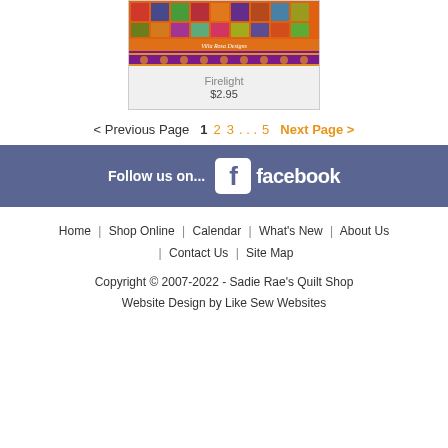[Figure (photo): Product image of Firelight quilt pattern by Villa Rosa Designs showing colorful quilt fabrics in orange, red, purple tones]
Firelight
$2.95
< Previous Page    1  2  3 . . . 5    Next Page >
[Figure (logo): Follow us on... Facebook logo banner with blue-purple background]
Home | Shop Online | Calendar | What's New | About Us | Contact Us | Site Map
Copyright © 2007-2022 - Sadie Rae's Quilt Shop
Website Design by Like Sew Websites